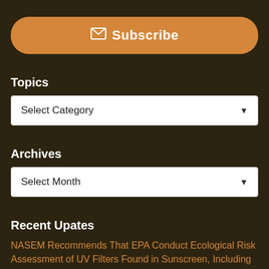Subscribe
Topics
Select Category
Archives
Select Month
Recent Upates
NASEM Recommends That EPA Conduct Ecological Risk Assessment of UV Filters Found in Sunscreen, Including Titanium Oxide and Zinc Oxide